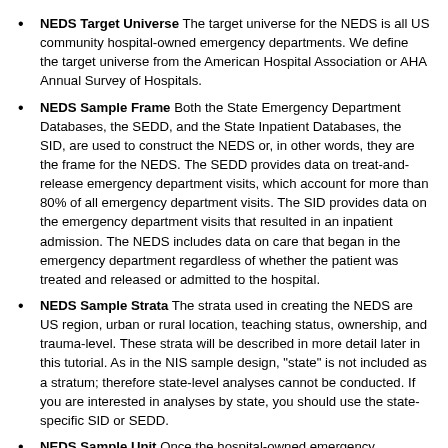NEDS Target Universe The target universe for the NEDS is all US community hospital-owned emergency departments. We define the target universe from the American Hospital Association or AHA Annual Survey of Hospitals.
NEDS Sample Frame Both the State Emergency Department Databases, the SEDD, and the State Inpatient Databases, the SID, are used to construct the NEDS or, in other words, they are the frame for the NEDS. The SEDD provides data on treat-and-release emergency department visits, which account for more than 80% of all emergency department visits. The SID provides data on the emergency department visits that resulted in an inpatient admission. The NEDS includes data on care that began in the emergency department regardless of whether the patient was treated and released or admitted to the hospital.
NEDS Sample Strata The strata used in creating the NEDS are US region, urban or rural location, teaching status, ownership, and trauma-level. These strata will be described in more detail later in this tutorial. As in the NIS sample design, "state" is not included as a stratum; therefore state-level analyses cannot be conducted. If you are interested in analyses by state, you should use the state-specific SID or SEDD.
NEDS Sample Unit Once the hospital-owned emergency departments have been stratified, a sample that approximates a 20% stratified sample of US hospital-owned emergency departments (the target universe) is constructed. 100% of all emergency department visits from the selected hospitals are